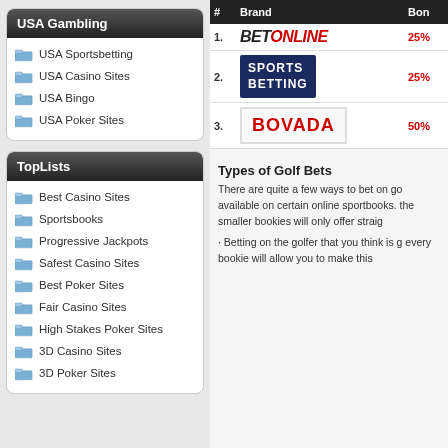USA Gambling
USA Sportsbetting
USA Casino Sites
USA Bingo
USA Poker Sites
TopLists
Best Casino Sites
Sportsbooks
Progressive Jackpots
Safest Casino Sites
Best Poker Sites
Fair Casino Sites
High Stakes Poker Sites
3D Casino Sites
3D Poker Sites
| # | Brand | Bon |
| --- | --- | --- |
| 1. | BetOnline | 25% |
| 2. | SportsBetting | 25% |
| 3. | Bovada | 50% |
Types of Golf Bets
There are quite a few ways to bet on go available on certain online sportbooks. the smaller bookies will only offer straig
· Betting on the golfer that you think is g every bookie will allow you to make this